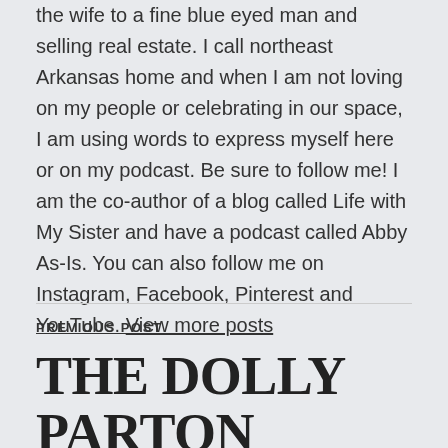the wife to a fine blue eyed man and selling real estate. I call northeast Arkansas home and when I am not loving on my people or celebrating in our space, I am using words to express myself here or on my podcast. Be sure to follow me! I am the co-author of a blog called Life with My Sister and have a podcast called Abby As-Is. You can also follow me on Instagram, Facebook, Pinterest and YouTube. View more posts
PREVIOUS POST
THE DOLLY PARTON TOUR!